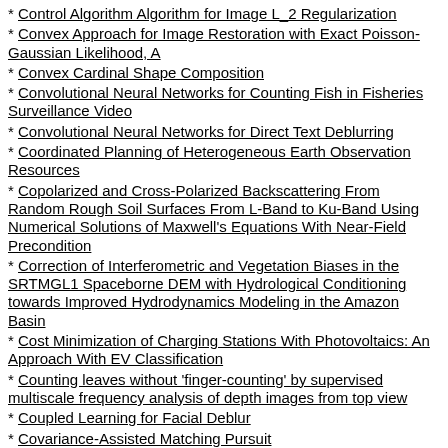Control Algorithm Algorithm for Image L_2 Regularization
Convex Approach for Image Restoration with Exact Poisson-Gaussian Likelihood, A
Convex Cardinal Shape Composition
Convolutional Neural Networks for Counting Fish in Fisheries Surveillance Video
Convolutional Neural Networks for Direct Text Deblurring
Coordinated Planning of Heterogeneous Earth Observation Resources
Copolarized and Cross-Polarized Backscattering From Random Rough Soil Surfaces From L-Band to Ku-Band Using Numerical Solutions of Maxwell's Equations With Near-Field Precondition
Correction of Interferometric and Vegetation Biases in the SRTMGL1 Spaceborne DEM with Hydrological Conditioning towards Improved Hydrodynamics Modeling in the Amazon Basin
Cost Minimization of Charging Stations With Photovoltaics: An Approach With EV Classification
Counting leaves without 'finger-counting' by supervised multiscale frequency analysis of depth images from top view
Coupled Learning for Facial Deblur
Covariance-Assisted Matching Pursuit
Cramer-Rao Lower Bound for Point Based Image Registration With Heteroscedastic Error Model for Application in Single Molecule Microscopy